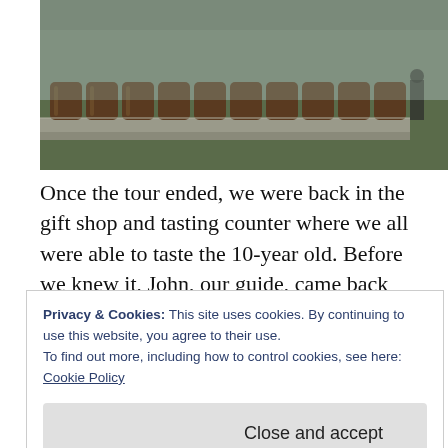[Figure (photo): Outdoor storage area with rows of wooden barrels/casks stacked along a concrete platform, green grass visible, person in background]
Once the tour ended, we were back in the gift shop and tasting counter where we all were able to taste the 10-year old.  Before we knew it, John, our guide, came back over to us and led us outside and upstairs for an unexpected treat.  He had set up the executive conference room for us to taste some of their aged bottles.  We
Privacy & Cookies: This site uses cookies. By continuing to use this website, you agree to their use.
To find out more, including how to control cookies, see here:
Cookie Policy
Close and accept
great tour, followed by a special tasting.  The